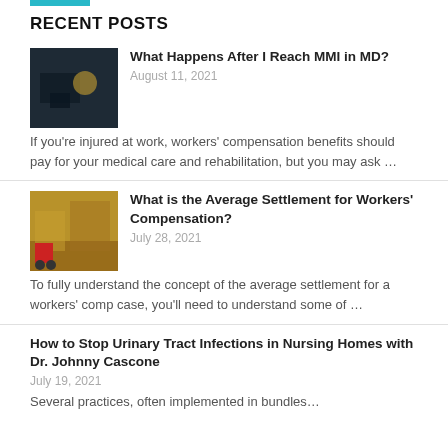RECENT POSTS
[Figure (photo): Dark photo, possibly a worker or industrial scene]
What Happens After I Reach MMI in MD?
August 11, 2021
If you’re injured at work, workers’ compensation benefits should pay for your medical care and rehabilitation, but you may ask …
[Figure (photo): Warehouse with forklift, red forklift visible]
What is the Average Settlement for Workers' Compensation?
July 28, 2021
To fully understand the concept of the average settlement for a workers’ comp case, you’ll need to understand some of …
How to Stop Urinary Tract Infections in Nursing Homes with Dr. Johnny Cascone
July 19, 2021
Several practices, often implemented in bundles…